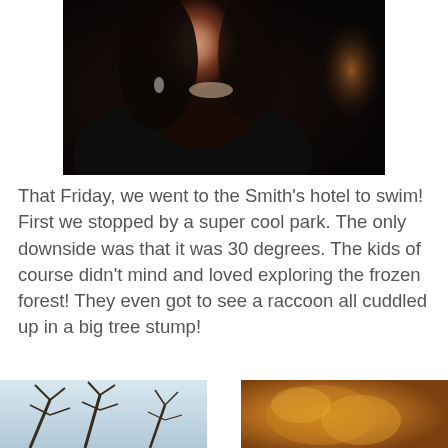[Figure (photo): Close-up selfie of a smiling woman with dark hair wearing a dark hoodie, taken at night]
That Friday, we went to the Smith's hotel to swim! First we stopped by a super cool park. The only downside was that it was 30 degrees. The kids of course didn't mind and loved exploring the frozen forest! They even got to see a raccoon all cuddled up in a big tree stump!
[Figure (photo): Partial photo on bottom left showing winter tree branches against sky]
[Figure (photo): Partial photo on bottom right showing warm brownish-orange tones, possibly an animal or autumn scene]